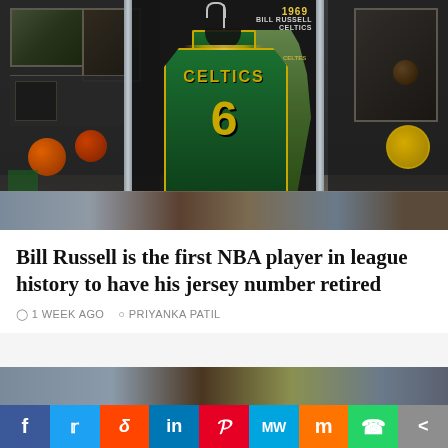[Figure (photo): Celtics jersey number 6 (Bill Russell) displayed in a glass case in what appears to be a sports museum or hall of fame. Behind the jersey is a poster of Bill Russell playing in his Celtics uniform. Additional display cases with sports memorabilia are visible on the left and right sides. A partial photo is visible at the bottom.]
Bill Russell is the first NBA player in league history to have his jersey number retired
1 WEEK AGO   PRIYANKA PATIL